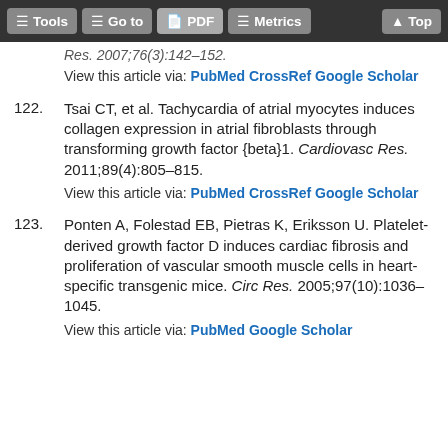Tools  Go to  PDF  Metrics  Top
Res. 2007;76(3):142–152.
View this article via: PubMed CrossRef Google Scholar
122. Tsai CT, et al. Tachycardia of atrial myocytes induces collagen expression in atrial fibroblasts through transforming growth factor {beta}1. Cardiovasc Res. 2011;89(4):805–815.
View this article via: PubMed CrossRef Google Scholar
123. Ponten A, Folestad EB, Pietras K, Eriksson U. Platelet-derived growth factor D induces cardiac fibrosis and proliferation of vascular smooth muscle cells in heart-specific transgenic mice. Circ Res. 2005;97(10):1036–1045.
View this article via: PubMed Google Scholar